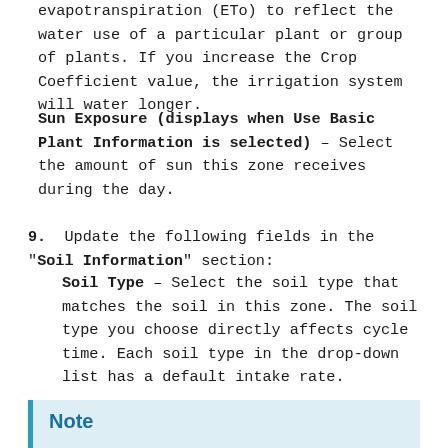evapotranspiration (ETo) to reflect the water use of a particular plant or group of plants. If you increase the Crop Coefficient value, the irrigation system will water longer.
Sun Exposure (displays when Use Basic Plant Information is selected) – Select the amount of sun this zone receives during the day.
9.  Update the following fields in the "Soil Information" section:
Soil Type – Select the soil type that matches the soil in this zone. The soil type you choose directly affects cycle time. Each soil type in the drop-down list has a default intake rate.
Note